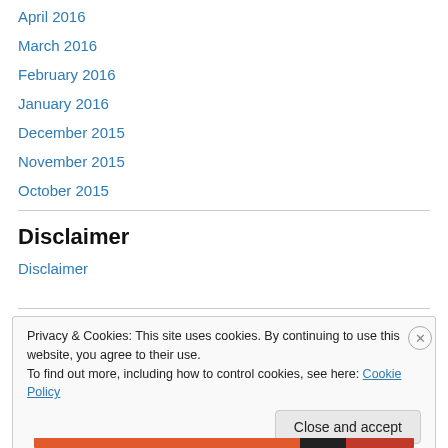April 2016
March 2016
February 2016
January 2016
December 2015
November 2015
October 2015
Disclaimer
Disclaimer
Privacy & Cookies: This site uses cookies. By continuing to use this website, you agree to their use.
To find out more, including how to control cookies, see here: Cookie Policy
Close and accept